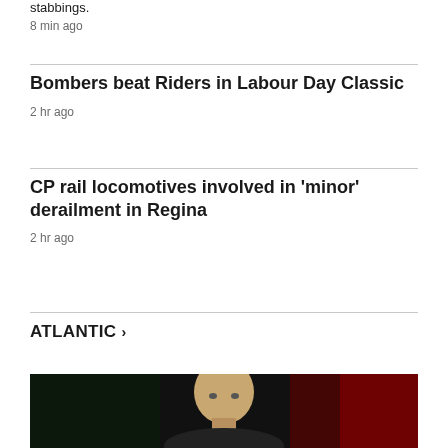stabbings.
8 min ago
Bombers beat Riders in Labour Day Classic
2 hr ago
CP rail locomotives involved in 'minor' derailment in Regina
2 hr ago
ATLANTIC >
[Figure (photo): A bald man photographed against a dark background with red and green lighting]